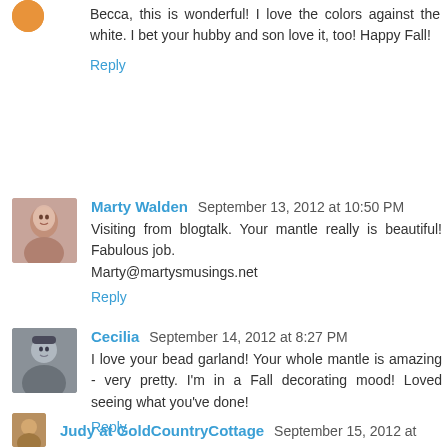Becca, this is wonderful! I love the colors against the white. I bet your hubby and son love it, too! Happy Fall!
Reply
Marty Walden  September 13, 2012 at 10:50 PM
Visiting from blogtalk. Your mantle really is beautiful! Fabulous job.
Marty@martysmusings.net
Reply
Cecilia  September 14, 2012 at 8:27 PM
I love your bead garland! Your whole mantle is amazing - very pretty. I'm in a Fall decorating mood! Loved seeing what you've done!
Reply
Judy at GoldCountryCottage  September 15, 2012 at